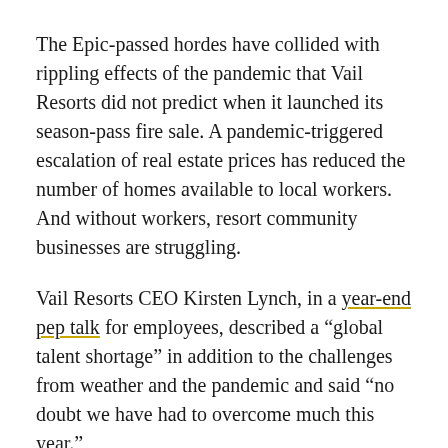The Epic-passed hordes have collided with rippling effects of the pandemic that Vail Resorts did not predict when it launched its season-pass fire sale. A pandemic-triggered escalation of real estate prices has reduced the number of homes available to local workers. And without workers, resort community businesses are struggling.
Vail Resorts CEO Kirsten Lynch, in a year-end pep talk for employees, described a “global talent shortage” in addition to the challenges from weather and the pandemic and said “no doubt we have had to overcome much this year.”